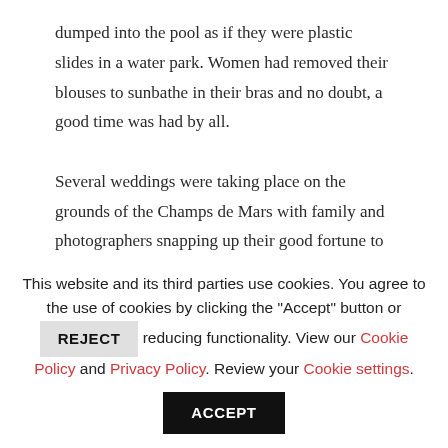dumped into the pool as if they were plastic slides in a water park. Women had removed their blouses to sunbathe in their bras and no doubt, a good time was had by all.

Several weddings were taking place on the grounds of the Champs de Mars with family and photographers snapping up their good fortune to have such a perfect backdrop. Their decorated limousines were waiting patiently at the base of the monument to take them to their receptions. Meanwhile our shoes gathered the dust of the dirt pathways as the "pelouse en repose" (resting lawn) was fenced off to recuperate from recent
This website and its third parties use cookies. You agree to the use of cookies by clicking the "Accept" button or REJECT reducing functionality. View our Cookie Policy and Privacy Policy. Review your Cookie settings. ACCEPT